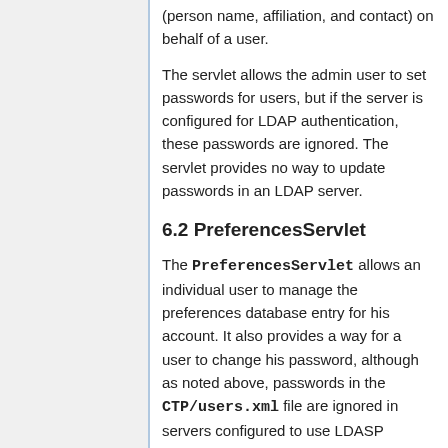(person name, affiliation, and contact) on behalf of a user.
The servlet allows the admin user to set passwords for users, but if the server is configured for LDAP authentication, these passwords are ignored. The servlet provides no way to update passwords in an LDAP server.
6.2 PreferencesServlet
The PreferencesServlet allows an individual user to manage the preferences database entry for his account. It also provides a way for a user to change his password, although as noted above, passwords in the CTP/users.xml file are ignored in servers configured to use LDASP authentication.